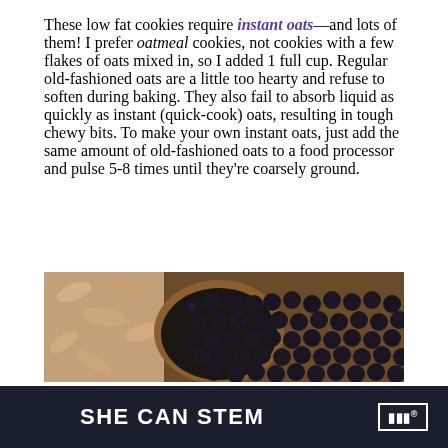These low fat cookies require instant oats—and lots of them! I prefer oatmeal cookies, not cookies with a few flakes of oats mixed in, so I added 1 full cup. Regular old-fashioned oats are a little too hearty and refuse to soften during baking. They also fail to absorb liquid as quickly as instant (quick-cook) oats, resulting in tough chewy bits. To make your own instant oats, just add the same amount of old-fashioned oats to a food processor and pulse 5-8 times until they're coarsely ground.
[Figure (photo): Food photograph showing oats on the left side and a wooden bowl filled with dark blueberries on the right side, on a wooden surface.]
SHE CAN STEM